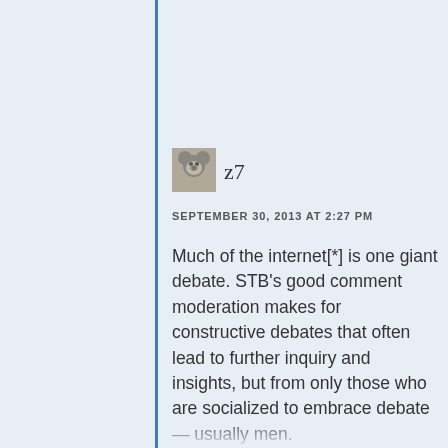[Figure (photo): Small avatar image of a koala]
z7
SEPTEMBER 30, 2013 AT 2:27 PM
Much of the internet[*] is one giant debate. STB's good comment moderation makes for constructive debates that often lead to further inquiry and insights, but from only those who are socialized to embrace debate — usually men.
http://www9.georgetown.edu/faculty/tannend/chronicle061991.htm
Then, there's the risk aversion to